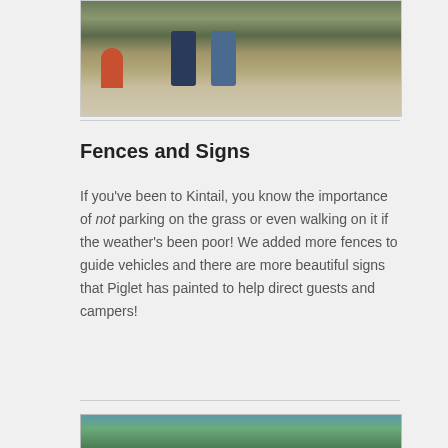[Figure (photo): Outdoor scene showing people working near a gravel path with log buildings and grass in the background]
Fences and Signs
If you've been to Kintail, you know the importance of not parking on the grass or even walking on it if the weather's been poor! We added more fences to guide vehicles and there are more beautiful signs that Piglet has painted to help direct guests and campers!
[Figure (photo): Outdoor scene with trees and blue sky visible at the bottom of the page]